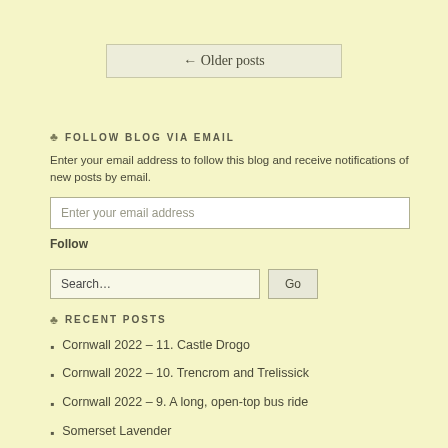← Older posts
♣ FOLLOW BLOG VIA EMAIL
Enter your email address to follow this blog and receive notifications of new posts by email.
Enter your email address
Follow
Search…
Go
♣ RECENT POSTS
Cornwall 2022 – 11. Castle Drogo
Cornwall 2022 – 10. Trencrom and Trelissick
Cornwall 2022 – 9. A long, open-top bus ride
Somerset Lavender